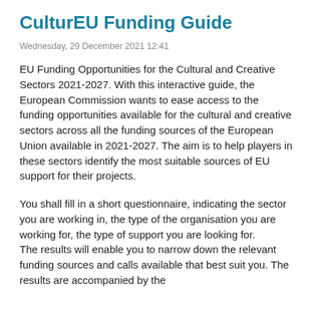CulturEU Funding Guide
Wednesday, 29 December 2021 12:41
EU Funding Opportunities for the Cultural and Creative Sectors 2021-2027. With this interactive guide, the European Commission wants to ease access to the funding opportunities available for the cultural and creative sectors across all the funding sources of the European Union available in 2021-2027. The aim is to help players in these sectors identify the most suitable sources of EU support for their projects.
You shall fill in a short questionnaire, indicating the sector you are working in, the type of the organisation you are working for, the type of support you are looking for.
The results will enable you to narrow down the relevant funding sources and calls available that best suit you. The results are accompanied by the